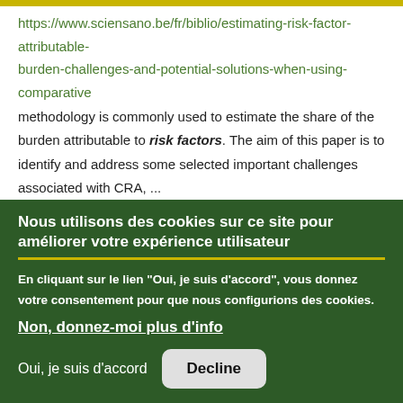https://www.sciensano.be/fr/biblio/estimating-risk-factor-attributable-burden-challenges-and-potential-solutions-when-using-comparative methodology is commonly used to estimate the share of the burden attributable to risk factors. The aim of this paper is to identify and address some selected important challenges associated with CRA, ...
Nous utilisons des cookies sur ce site pour améliorer votre expérience utilisateur
En cliquant sur le lien "Oui, je suis d'accord", vous donnez votre consentement pour que nous configurions des cookies.
Non, donnez-moi plus d'info
Oui, je suis d'accord    Decline